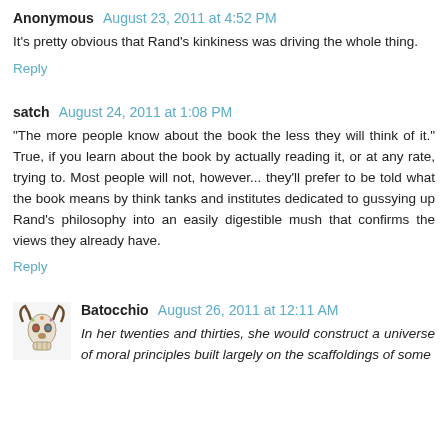Anonymous August 23, 2011 at 4:52 PM
It's pretty obvious that Rand's kinkiness was driving the whole thing.
Reply
satch August 24, 2011 at 1:08 PM
"The more people know about the book the less they will think of it." True, if you learn about the book by actually reading it, or at any rate, trying to. Most people will not, however... they'll prefer to be told what the book means by think tanks and institutes dedicated to gussying up Rand's philosophy into an easily digestible mush that confirms the views they already have.
Reply
[Figure (illustration): Small avatar image of a decorative bull skull with colorful floral pattern]
Batocchio August 26, 2011 at 12:11 AM
In her twenties and thirties, she would construct a universe of moral principles built largely on the scaffoldings of some